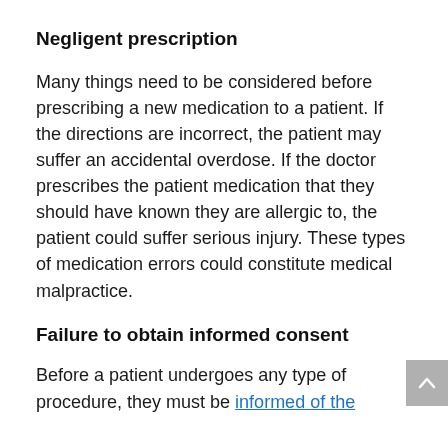Negligent prescription
Many things need to be considered before prescribing a new medication to a patient. If the directions are incorrect, the patient may suffer an accidental overdose. If the doctor prescribes the patient medication that they should have known they are allergic to, the patient could suffer serious injury. These types of medication errors could constitute medical malpractice.
Failure to obtain informed consent
Before a patient undergoes any type of procedure, they must be informed of the